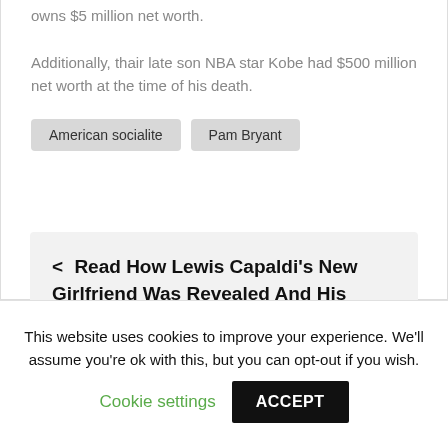owns $5 million net worth.
Additionally, thair late son NBA star Kobe had $500 million net worth at the time of his death.
American socialite
Pam Bryant
< Read How Lewis Capaldi's New Girlfriend Was Revealed And His Relationship History
This website uses cookies to improve your experience. We'll assume you're ok with this, but you can opt-out if you wish. Cookie settings ACCEPT